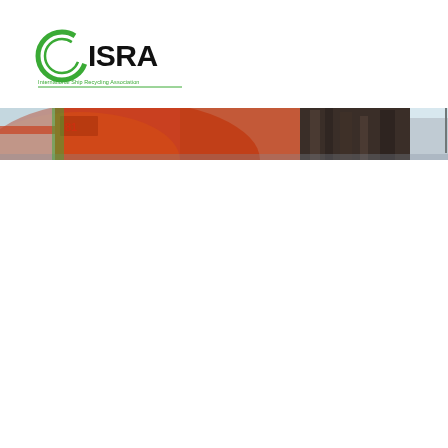[Figure (logo): ISRA logo — International Ship Recycling Association. Green circle arc with letter C shape on the left, bold black text ISRA to the right, green text 'International Ship Recycling Association' below in small font.]
[Figure (photo): Cropped wide photograph of ships or a shipyard scene. Visible orange/red hull of a ship on the left side, dark building or structure in the center, and more ship structures and pale sky in the background. The image forms a narrow horizontal band across the full page width.]